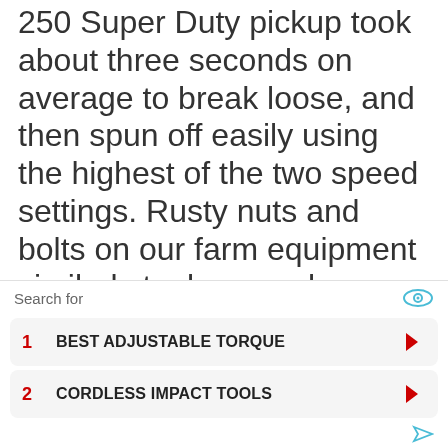250 Super Duty pickup took about three seconds on average to break loose, and then spun off easily using the highest of the two speed settings. Rusty nuts and bolts on our farm equipment similarly took a couple seconds of impacting to break loose
Search for
1  BEST ADJUSTABLE TORQUE
2  CORDLESS IMPACT TOOLS